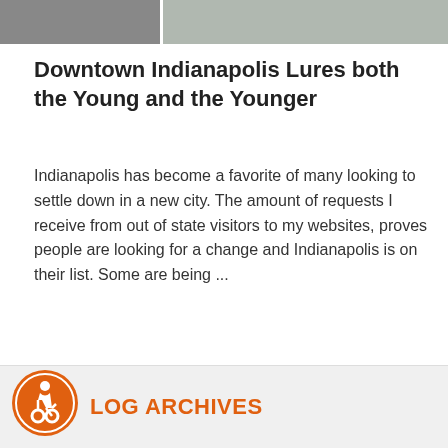[Figure (photo): Partial photo strip at top of page showing buildings/architecture in grayscale]
Downtown Indianapolis Lures both the Young and the Younger
Indianapolis has become a favorite of many looking to settle down in a new city. The amount of requests I receive from out of state visitors to my websites, proves people are looking for a change and Indianapolis is on their list. Some are being ...
Read More
Posted by Paula Henry on May 1, 2011 in Real Estate News
LOG ARCHIVES